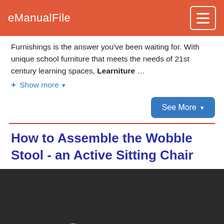eManualFile
Furnishings is the answer you've been waiting for. With unique school furniture that meets the needs of 21st century learning spaces, Learniture …
+ Show more ▼
See More ▼
How to Assemble the Wobble Stool - an Active Sitting Chair
[Figure (screenshot): Embedded video player showing 'Video unavailable - This video is unavailable' error message on dark background]